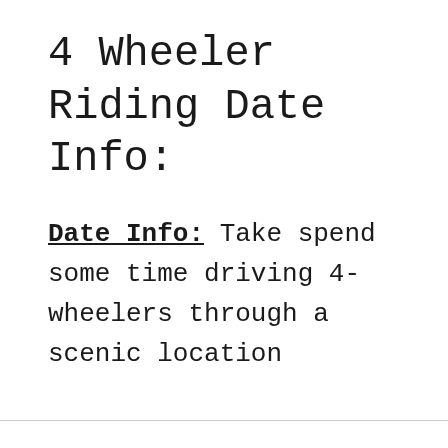4 Wheeler Riding Date Info:
Date Info: Take spend some time driving 4-wheelers through a scenic location